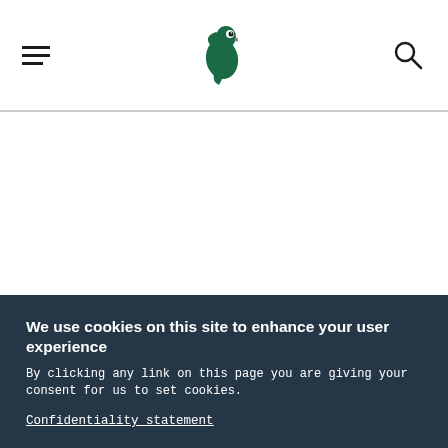[Figure (logo): Green bird/parrot logo in center of header navigation bar]
Navigation header with hamburger menu, logo, and search icon
We use cookies on this site to enhance your user experience
By clicking any link on this page you are giving your consent for us to set cookies.
Confidentiality statement